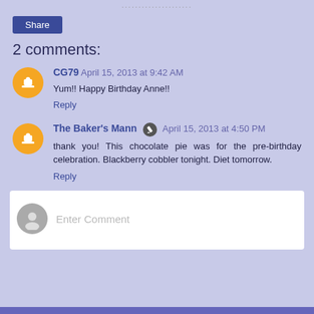[Figure (other): Share button — dark blue rounded rectangle with white text 'Share']
2 comments:
CG79  April 15, 2013 at 9:42 AM
Yum!! Happy Birthday Anne!!
Reply
The Baker's Mann  April 15, 2013 at 4:50 PM
thank you! This chocolate pie was for the pre-birthday celebration. Blackberry cobbler tonight. Diet tomorrow.
Reply
Enter Comment